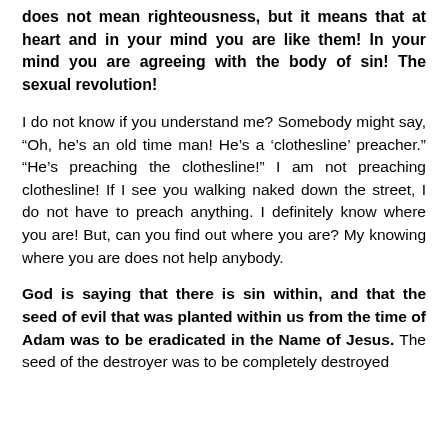does not mean righteousness, but it means that at heart and in your mind you are like them! In your mind you are agreeing with the body of sin! The sexual revolution!
I do not know if you understand me? Somebody might say, "Oh, he's an old time man! He's a 'clothesline' preacher." "He's preaching the clothesline!" I am not preaching clothesline! If I see you walking naked down the street, I do not have to preach anything. I definitely know where you are! But, can you find out where you are? My knowing where you are does not help anybody.
God is saying that there is sin within, and that the seed of evil that was planted within us from the time of Adam was to be eradicated in the Name of Jesus. The seed of the destroyer was to be completely destroyed